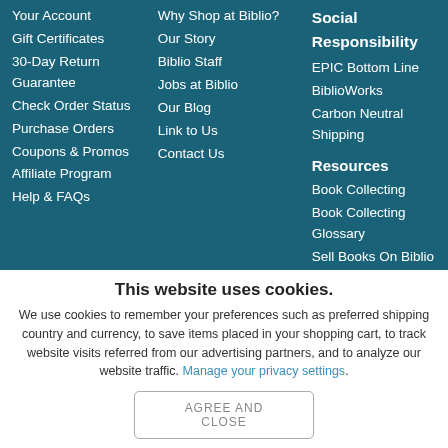Your Account
Gift Certificates
30-Day Return Guarantee
Check Order Status
Purchase Orders
Coupons & Promos
Affiliate Program
Help & FAQs
Why Shop at Biblio?
Our Story
Biblio Staff
Jobs at Biblio
Our Blog
Link to Us
Contact Us
Social Responsibility
EPIC Bottom Line
BiblioWorks
Carbon Neutral Shipping
Resources
Book Collecting
Book Collecting Glossary
Sell Books On Biblio
This website uses cookies.
We use cookies to remember your preferences such as preferred shipping country and currency, to save items placed in your shopping cart, to track website visits referred from our advertising partners, and to analyze our website traffic. Manage your privacy settings.
AGREE AND CLOSE